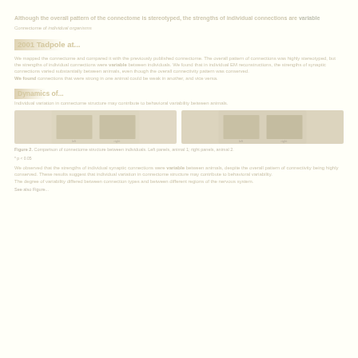Although the overall pattern of the connectome is stereotyped, the strengths of individual connections are variable
Connectome of individual organisms
2001 Tadpole at...
We mapped the connectome of the C. elegans nervous system and compared it with the previously published connectome. The overall pattern of connections was highly stereotyped, but the strengths of individual connections were variable between individuals.
We found that in individual EM reconstructions, the strengths of synaptic connections varied substantially between animals, even though the overall pattern of connectivity was conserved.
Connections that were strong in one animal could be weak in another, and vice versa.
Dynamics of...
Individual variation in connectome structure may contribute to behavioral variability between animals.
[Figure (photo): Two panels showing EM reconstructions of neural connectivity at two time points]
Figure 2. Comparison of connectome structure between individuals.
* p < 0.05
We observed that the strengths of individual synaptic connections were variable between animals, despite the overall pattern of connectivity being highly conserved.
These results suggest that individual variation in connectome structure may contribute to behavioral variability.
See also Figure...